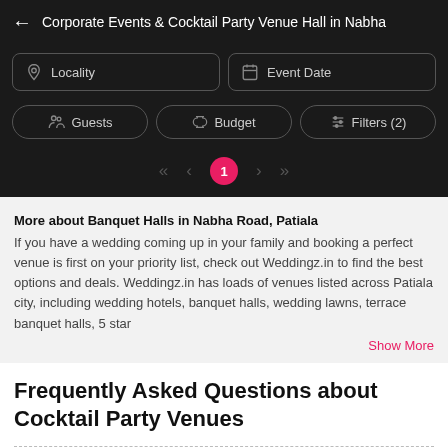← Corporate Events & Cocktail Party Venue Hall in Nabha
[Figure (screenshot): Filter UI bar with Locality and Event Date inputs]
[Figure (screenshot): Filter row with Guests, Budget, and Filters (2) buttons]
[Figure (screenshot): Pagination row with arrows and pink button showing page 1]
More about Banquet Halls in Nabha Road, Patiala
If you have a wedding coming up in your family and booking a perfect venue is first on your priority list, check out Weddingz.in to find the best options and deals. Weddingz.in has loads of venues listed across Patiala city, including wedding hotels, banquet halls, wedding lawns, terrace banquet halls, 5 star
Show More
Frequently Asked Questions about Cocktail Party Venues
Which are the Best banquet halls in Nabha Road, Patiala city?